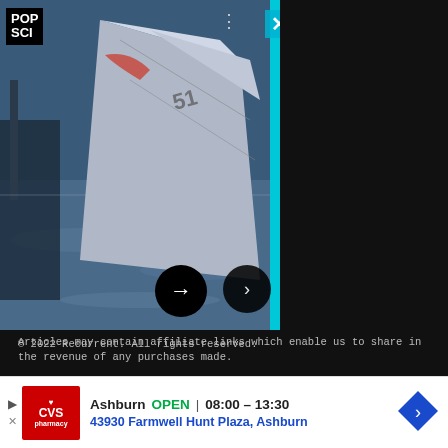[Figure (screenshot): Pop Science advertisement overlay showing a sailboat/aircraft image with 'Save $200 with these Labor Day Roomba deals on Amazon' text on dark background, with navigation arrows and close button]
Articles may contain affiliate links which enable us to share in the revenue of any purchases made.
Registration on or use of this site constitutes acceptance of our Terms of Service.
© 2022 Recurrent. All rights reserved.
[Figure (screenshot): CVS Pharmacy ad: Ashburn OPEN 08:00 – 13:30, 43930 Farmwell Hunt Plaza, Ashburn]